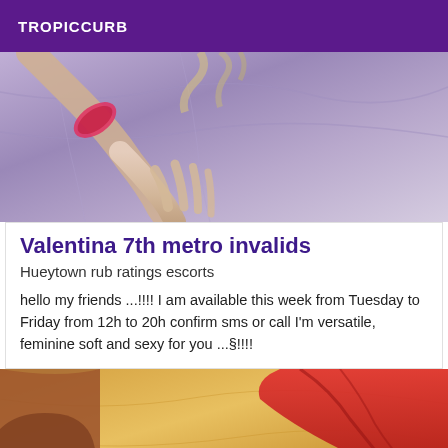TROPICCURB
[Figure (photo): Close-up photo of a person's hand resting on grey/purple fabric bedding, with a pink/red accessory visible on the wrist]
Valentina 7th metro invalids
Hueytown rub ratings escorts
hello my friends ...!!!! I am available this week from Tuesday to Friday from 12h to 20h confirm sms or call I'm versatile, feminine soft and sexy for you ...§!!!!
[Figure (photo): Close-up photo showing a person wearing a red bra/bikini top and yellow/gold fabric, partially cropped]